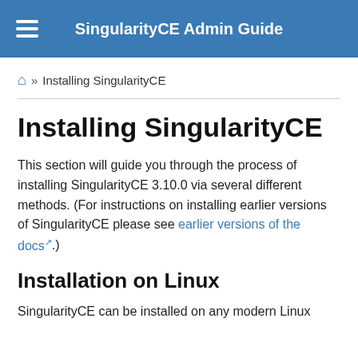SingularityCE Admin Guide
🏠 » Installing SingularityCE
Installing SingularityCE
This section will guide you through the process of installing SingularityCE 3.10.0 via several different methods. (For instructions on installing earlier versions of SingularityCE please see earlier versions of the docs .)
Installation on Linux
SingularityCE can be installed on any modern Linux